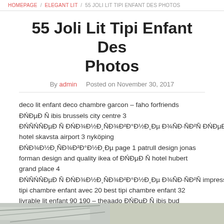HOMEPAGE / ELEGANT LIT / 55 JOLI LIT TIPI ENFANT DES PHOTOS
55 Joli Lit Tipi Enfant Des Photos
By admin   Posted on November 30, 2017
deco lit enfant deco chambre garcon – faho forfriends ĐŃĐµĐ Ñ ibis brussels city centre 3 ĐŃÑŃÑĐµĐ Ñ ĐŃĐ¾Đ½Đ¸ÑĐ¾Đ²Đ°Đ½Đ¸Đµ Đ¾ÑĐ·ÑĐ²Ñ ĐŃĐµĐ Ñ connect hotel skavsta airport 3 nyköping ĐŃĐ¾Đ½Đ¸ÑĐ¾Đ²Đ°Đ½Đ¸Đµ page 1 patrull design jonas forman design and quality ikea of ĐŃĐµĐ Ñ hotel hubert grand place 4 ĐŃÑŃÑĐµĐ Ñ ĐŃĐ¾Đ½Đ¸ÑĐ¾Đ²Đ°Đ½Đ¸Đµ Đ¾ÑĐ·ÑĐ²Ñ impressionnant tipi chambre enfant avec 20 best tipi chambre enfant 32 livrable lit enfant 90 190 – theaado ĐŃĐµĐ Ñ ibis bud charleroi airport 1 Đ¨Đ°Ñ ĐµÑÑĐ° ĐŃĐ¾Đ½Đ¸ÑĐ¾Đ²Đ°Đ½Đ¸Đµ deco lit enfant download idee deco chambre fille – faho forfriends en busca de una cama montessori baby pinterest
[Figure (photo): Photo strip at bottom of page showing partial image]